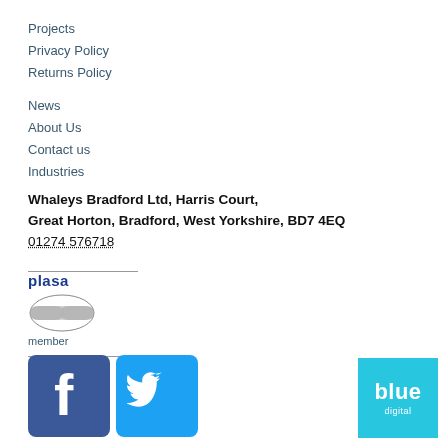Projects
Privacy Policy
Returns Policy
News
About Us
Contact us
Industries
Whaleys Bradford Ltd, Harris Court, Great Horton, Bradford, West Yorkshire, BD7 4EQ
01274 576718
[Figure (logo): PLASA member logo with blue 'plasa' text and chain link graphic and 'member' label]
[Figure (logo): Facebook and Twitter social media icons]
[Figure (logo): Blue Digital logo — cyan square with 'blue' in white bold text and 'digital' below]